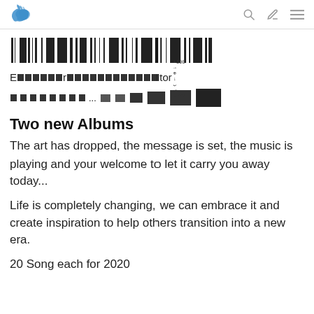Steem platform header with logo and navigation icons
[Figure (other): Barcode-like graphic with vertical black bars of varying widths]
E░░░░░r░░░░░░░░░░░░tor [with glitch/corrupted characters overlay]
░░░░░░░░...__ __ ■ ■■ ■■ ██ [progress/loading bar with corrupted blocks]
Two new Albums
The art has dropped, the message is set, the music is playing and your welcome to let it carry you away today...
Life is completely changing, we can embrace it and create inspiration to help others transition into a new era.
20 Song each for 2020